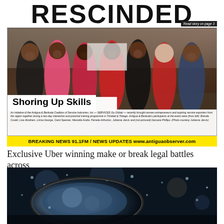RESCINDED
Read story on page 3
[Figure (photo): Group photo of women at a training event. Overlay title: 'Shoring Up Skills'. Caption describes SERVICES Go Global initiative of the Antigua & Barbuda Coalition of Service Industries, Inc.]
An initiative of the Antigua & Barbuda Coalition of Service Industries, Inc — SERVICES Go Global — recently brought women entrepreneurs and aspiring service exporters from the region together during a two-day interactive and practical training programme in Trinidad & Tobago. Antigua & Barbuda's participants at the event were (from left): Brenda Covett, Lisa Abraham, Linisa George, Carol Spencer, Marcella Andre, Pamela Arthurton, Julianne Jarvis and (not pictured) Dansare Phillips. (Photo courtesy Julianne Jarvis)
BREAKING NEWS 91.1FM / NEWS UPDATES www.antiguaobserver.com
Exclusive Uber winning make or break legal battles across
[Figure (photo): Close-up photo of a car side mirror with raindrops on a dark background.]